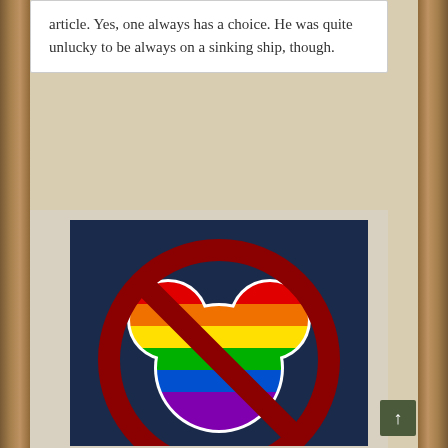article. Yes, one always has a choice. He was quite unlucky to be always on a sinking ship, though.
[Figure (illustration): A dark navy blue square image showing a rainbow-colored Mickey Mouse silhouette (with rainbow stripes: red, orange, yellow, green, blue, purple from top to bottom, with a white border/outline) overlaid with a large dark red prohibition/no symbol (circle with diagonal line through it).]